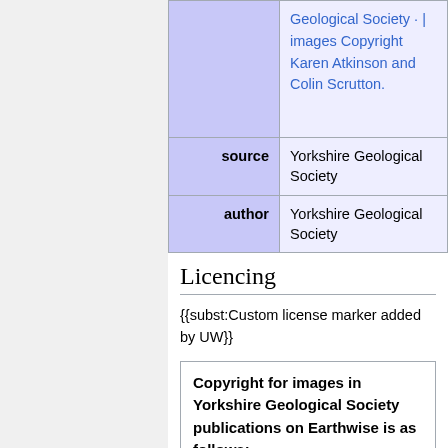| label | value |
| --- | --- |
|  | images Copyright Karen Atkinson and Colin Scrutton. |
| source | Yorkshire Geological Society |
| author | Yorkshire Geological Society |
Licencing
{{subst:Custom license marker added by UW}}
Copyright for images in Yorkshire Geological Society publications on Earthwise is as follows:
Images may be reproduced free of charge for any non-commercial use in